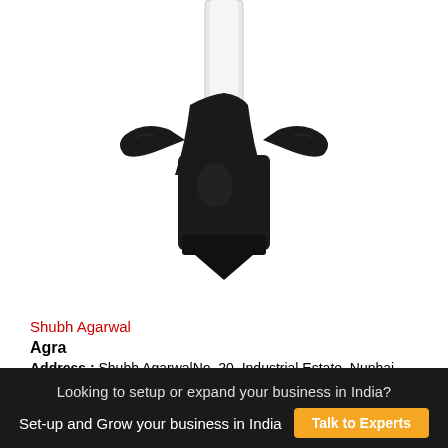[Figure (photo): Black plastic wing nut / butterfly nut component mounted on a white cylindrical rod, photographed on white background]
Shubh Agarwal
Agra
Address : Shubh AgarwalNo. 20, Industrial Estate, Nunhai, Industrial Estate, ,Agra,India
Looking to setup or expand your business in India?
Set-up and Grow your business in India  Talk to Experts